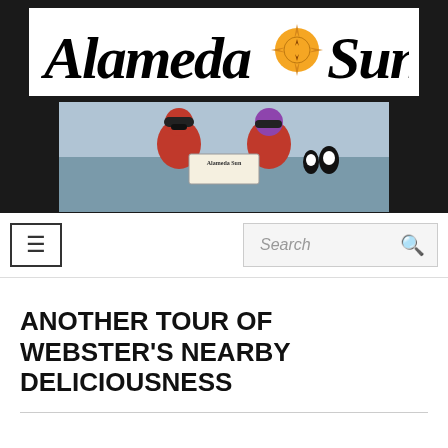[Figure (logo): Alameda Sun newspaper logo with blackletter text and orange sun/compass rose icon between the words]
[Figure (photo): Two people in red life vests and cold weather gear holding an Alameda Sun newspaper, with penguins visible in the background, appearing to be in Antarctica]
[Figure (other): Navigation bar with hamburger menu button on left and search box on right]
ANOTHER TOUR OF WEBSTER'S NEARBY DELICIOUSNESS